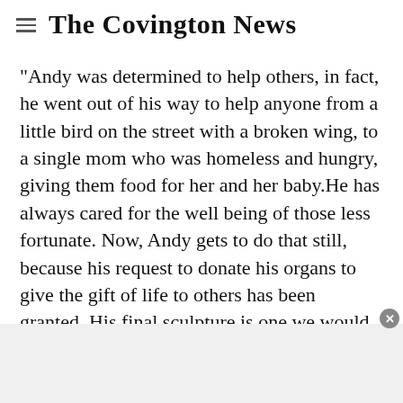The Covington News
"Andy was determined to help others, in fact, he went out of his way to help anyone from a little bird on the street with a broken wing, to a single mom who was homeless and hungry, giving them food for her and her baby.He has always cared for the well being of those less fortunate. Now, Andy gets to do that still, because his request to donate his organs to give the gift of life to others has been granted. His final sculpture is one we would never have imagined-